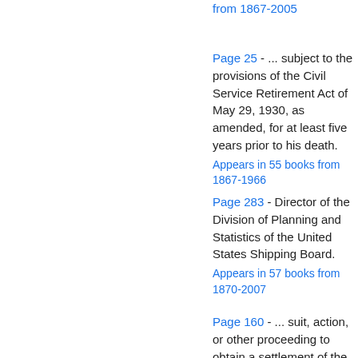from 1867-2005
Page 25 - ... subject to the provisions of the Civil Service Retirement Act of May 29, 1930, as amended, for at least five years prior to his death.
Appears in 55 books from 1867-1966
Page 283 - Director of the Division of Planning and Statistics of the United States Shipping Board.
Appears in 57 books from 1870-2007
Page 160 - ... suit, action, or other proceeding to obtain a settlement of the